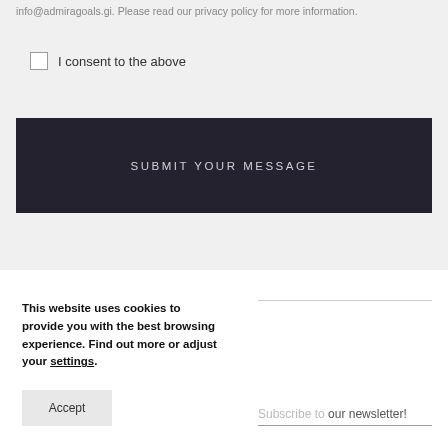info@admiragoals.gi. Please read our privacy policy for more information.
I consent to the above
SUBMIT YOUR MESSAGE
This website uses cookies to provide you with the best browsing experience. Find out more or adjust your settings.
Accept
Subscribe to our newsletter!